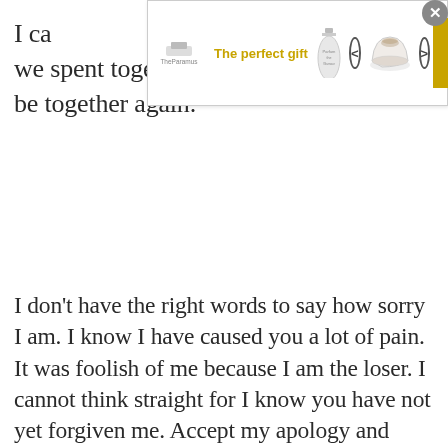[Figure (other): Top banner advertisement: 'The perfect gift' with TheParamus logo, perfume bottle image, navigation arrows, bowl of food, and '35% OFF + FREE SHIPPING' offer in gold]
I ca... we spent together. All I want is for us to be together again.
I don't have the right words to say how sorry I am. I know I have caused you a lot of pain. It was foolish of me because I am the loser. I cannot think straight for I know you have not yet forgiven me. Accept my apology and please give me a second chance to make things right.
[Figure (other): Bottom banner advertisement for Porsche: 'The new 911. Ever ahead.' with LEARN MORE button, car photo on left, Porsche logo on right]